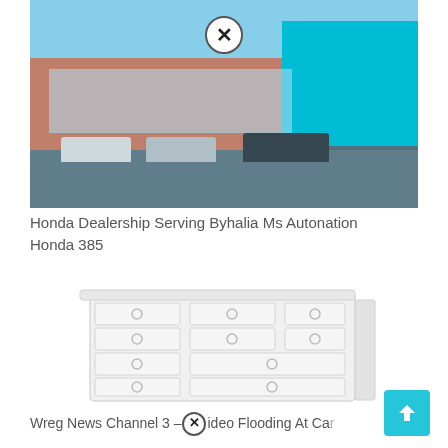[Figure (photo): Honda dealership exterior showing brick building facade, glass storefront, blue signage on right, and cars parked in front including a white SUV, silver sedan, and dark SUV. A circular close (X) button overlay appears near the top center.]
Honda Dealership Serving Byhalia Ms Autonation Honda 385
[Figure (photo): White dresser/chest of drawers with multiple drawers and round knobs, shown on a white background. The image appears faded/washed out.]
Wreg News Channel 3 – Video Flooding At Car